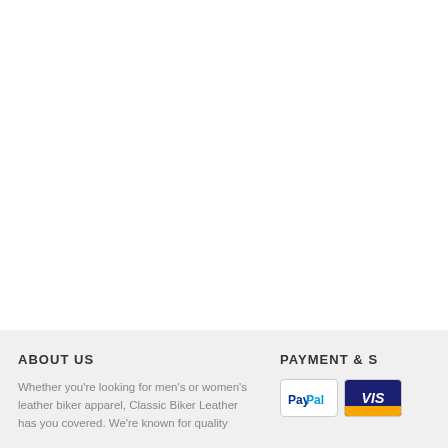ABOUT US
Whether you're looking for men's or women's leather biker apparel, Classic Biker Leather has you covered. We're known for quality
PAYMENT & S
[Figure (logo): PayPal payment logo]
[Figure (logo): Visa payment logo with gold bottom bar]